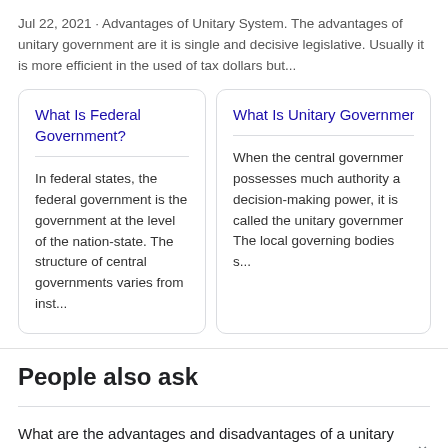Jul 22, 2021 · Advantages of Unitary System. The advantages of unitary government are it is single and decisive legislative. Usually it is more efficient in the used of tax dollars but...
What Is Federal Government?
In federal states, the federal government is the government at the level of the nation-state. The structure of central governments varies from inst...
What Is Unitary Government...
When the central government possesses much authority and decision-making power, it is called the unitary government. The local governing bodies s...
People also ask
What are the advantages and disadvantages of a unitary system?
What is a unitary system of government?